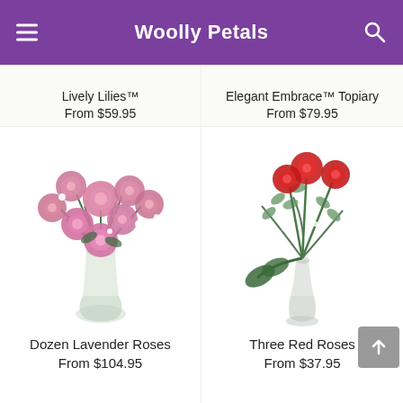Woolly Petals
Lively Lilies™
From $59.95
Elegant Embrace™ Topiary
From $79.95
[Figure (photo): A dozen lavender/pink roses in a glass vase with white filler flowers.]
[Figure (photo): Three red roses in a slim glass bud vase with eucalyptus greenery.]
Dozen Lavender Roses
From $104.95
Three Red Roses
From $37.95